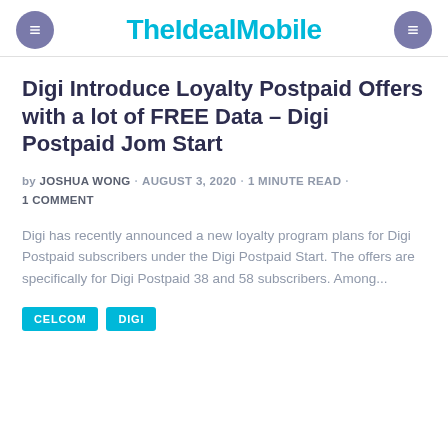TheIdealMobile
Digi Introduce Loyalty Postpaid Offers with a lot of FREE Data – Digi Postpaid Jom Start
by JOSHUA WONG · AUGUST 3, 2020 · 1 MINUTE READ · 1 COMMENT
Digi has recently announced a new loyalty program plans for Digi Postpaid subscribers under the Digi Postpaid Start. The offers are specifically for Digi Postpaid 38 and 58 subscribers. Among...
CELCOM  DIGI